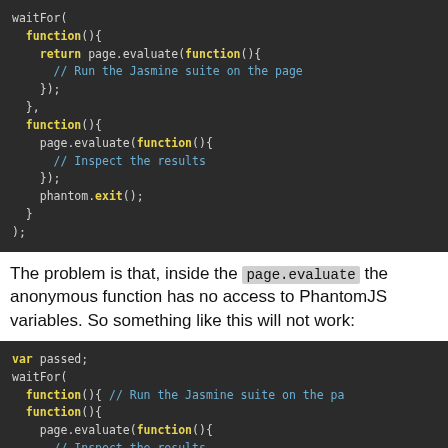[Figure (screenshot): Dark-themed code block showing waitFor( function(){ return page.evaluate(function(){ // Run the Jasmine suite on the page }); }, function(){ page.evaluate(function(){ // Inspect the results }); phantom.exit(); } );]
The problem is that, inside the page.evaluate the anonymous function has no access to PhantomJS variables. So something like this will not work:
[Figure (screenshot): Dark-themed code block showing var passed; waitFor( function(){ // Run the Jasmine suite on the pa function(){ page.evaluate(function(){ // Inspect the results passed = jasmineEnv.currentRunner().resul]